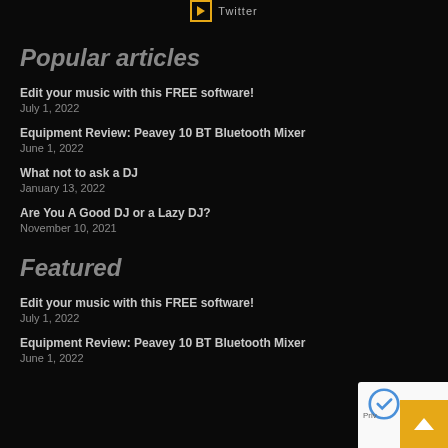Twitter
Popular articles
Edit your music with this FREE software!
July 1, 2022
Equipment Review: Peavey 10 BT Bluetooth Mixer
June 1, 2022
What not to ask a DJ
January 13, 2022
Are You A Good DJ or a Lazy DJ?
November 10, 2021
Featured
Edit your music with this FREE software!
July 1, 2022
Equipment Review: Peavey 10 BT Bluetooth Mixer
June 1, 2022
[Figure (logo): reCAPTCHA logo with privacy text overlay]